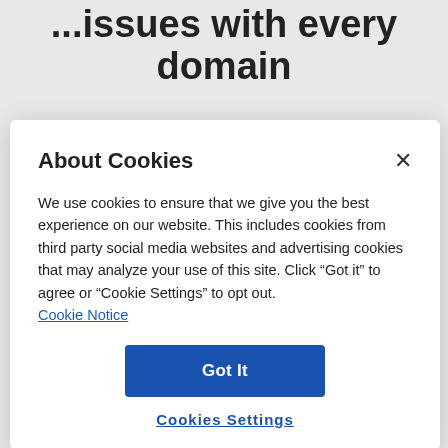...issues with every domain
[Figure (illustration): Globe/world icon outline]
About Cookies
We use cookies to ensure that we give you the best experience on our website. This includes cookies from third party social media websites and advertising cookies that may analyze your use of this site. Click "Got it" to agree or "Cookie Settings" to opt out.
Cookie Notice
Got It
Cookies Settings